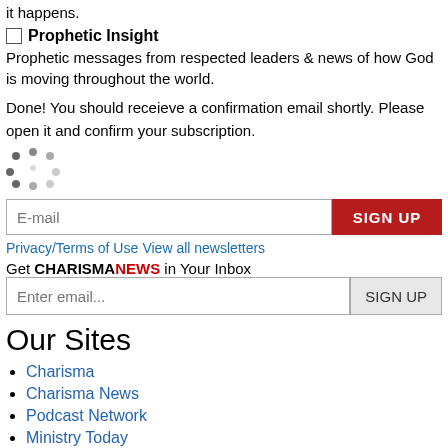it happens.
Prophetic Insight
Prophetic messages from respected leaders & news of how God is moving throughout the world.
Done! You should receieve a confirmation email shortly. Please open it and confirm your subscription.
[Figure (other): Animated spinner/loading indicator dots]
E-mail [input field] SIGN UP [button]
Privacy/Terms of Use View all newsletters
Get CHARISMANEWS in Your Inbox
Enter email... [input field] SIGN UP [button]
Our Sites
Charisma
Charisma News
Podcast Network
Ministry Today
SpiritLed Woman
New Man